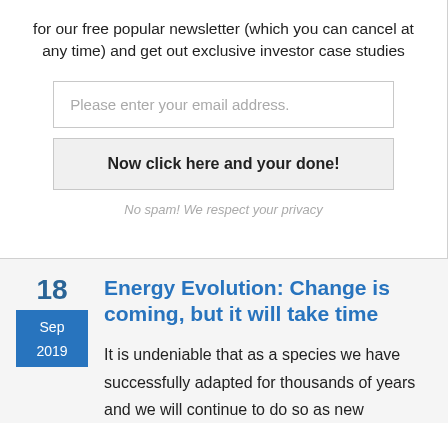for our free popular newsletter (which you can cancel at any time) and get out exclusive investor case studies
Please enter your email address.
Now click here and your done!
No spam! We respect your privacy
Energy Evolution: Change is coming, but it will take time
18 Sep 2019
It is undeniable that as a species we have successfully adapted for thousands of years and we will continue to do so as new